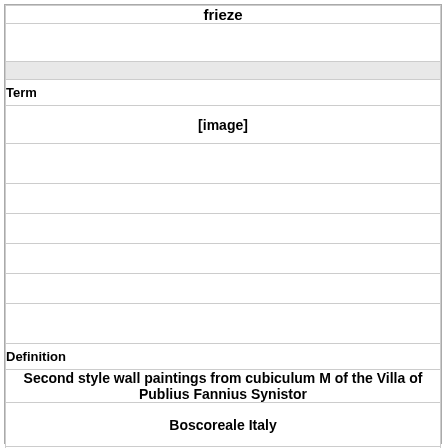frieze
Term
[Figure (other): [image]]
Definition
Second style wall paintings from cubiculum M of the Villa of Publius Fannius Synistor
Boscoreale Italy
50 bce